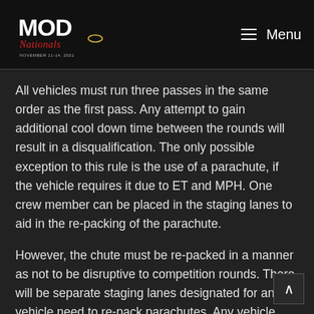MOD Nationals — Menu
All vehicles must run three passes in the same order as the first pass. Any attempt to gain additional cool down time between the rounds will result in a disqualification. The only possible exception to this rule is the use of a parachute, if the vehicle requires it due to ET and MPH. One crew member can be placed in the staging lanes to aid in the re-packing of the parachute.
However, the chute must be re-packed in a manner as not to be disruptive to competition rounds. There will be separate staging lanes designated for any vehicle need to re-pack parachutes. Any vehicle unable to start under its own power will be disqualified. Once all rounds